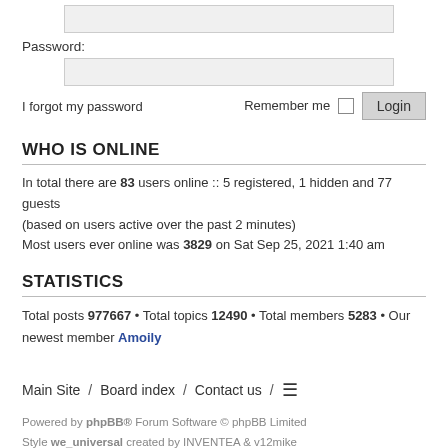Password:
I forgot my password   Remember me  [ ]   Login
WHO IS ONLINE
In total there are 83 users online :: 5 registered, 1 hidden and 77 guests (based on users active over the past 2 minutes)
Most users ever online was 3829 on Sat Sep 25, 2021 1:40 am
STATISTICS
Total posts 977667 • Total topics 12490 • Total members 5283 • Our newest member Amoily
Main Site / Board index / Contact us / ≡
Powered by phpBB® Forum Software © phpBB Limited
Style we_universal created by INVENTEA & v12mike
Privacy | Terms